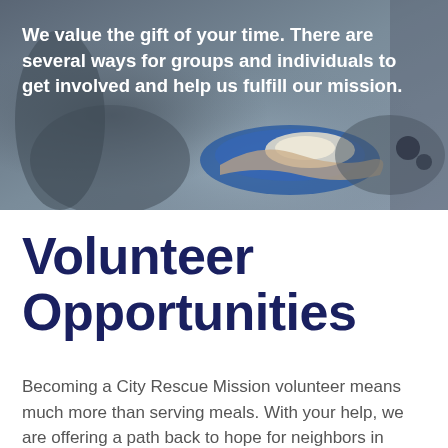[Figure (photo): Photo of hands serving food on a blue plate, with text overlay about volunteering]
We value the gift of your time. There are several ways for groups and individuals to get involved and help us fulfill our mission.
Volunteer Opportunities
Becoming a City Rescue Mission volunteer means much more than serving meals. With your help, we are offering a path back to hope for neighbors in need.